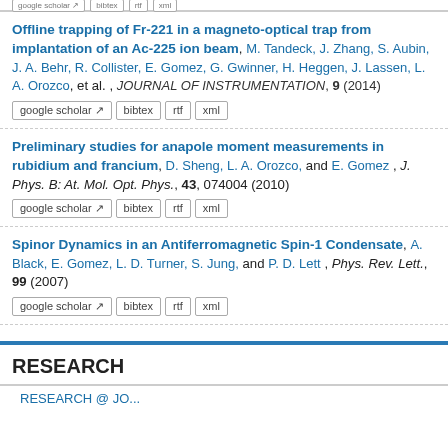Offline trapping of Fr-221 in a magneto-optical trap from implantation of an Ac-225 ion beam, M. Tandeck, J. Zhang, S. Aubin, J. A. Behr, R. Collister, E. Gomez, G. Gwinner, H. Heggen, J. Lassen, L. A. Orozco, et al. , JOURNAL OF INSTRUMENTATION, 9 (2014)
Preliminary studies for anapole moment measurements in rubidium and francium, D. Sheng, L. A. Orozco, and E. Gomez , J. Phys. B: At. Mol. Opt. Phys., 43, 074004 (2010)
Spinor Dynamics in an Antiferromagnetic Spin-1 Condensate, A. Black, E. Gomez, L. D. Turner, S. Jung, and P. D. Lett , Phys. Rev. Lett., 99 (2007)
RESEARCH
RESEARCH @ JO...